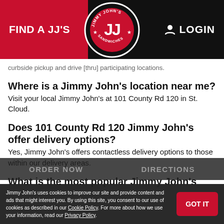FIND A JJ'S   LOGIN
curbside pickup and drive [thru] participating locations.
Where is a Jimmy John's location near me?
Visit your local Jimmy John's at 101 County Rd 120 in St. Cloud.
Does 101 County Rd 120 Jimmy John's offer delivery options?
Yes, Jimmy John's offers contactless delivery options to those within our delivery areas.
What is the most popular Jimmy John's
Jimmy John's uses cookies to improve our site and provide content and ads that might interest you. By using this site, you consent to our use of cookies as described in our Cookie Policy. For more about how we use your information, read our Privacy Policy.